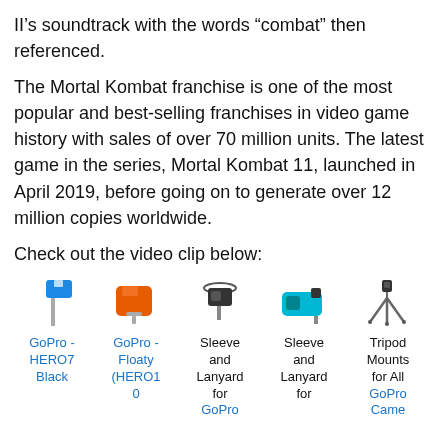II&#8217;s soundtrack with the words &#8220;combat&#8221; then referenced. &nbsp;
The Mortal Kombat franchise is one of the most popular and best-selling franchises in video game history with sales of over 70 million units. The latest game in the series, Mortal Kombat 11, launched in April 2019, before going on to generate over 12 million copies worldwide.
Check out the video clip below:
[Figure (other): Row of five GoPro product thumbnails with product names in blue: GoPro - HERO7 Black, GoPro - Floaty (HERO10), Sleeve and Lanyard for GoPro, Sleeve and Lanyard for, Tripod Mounts for All GoPro Cameras]